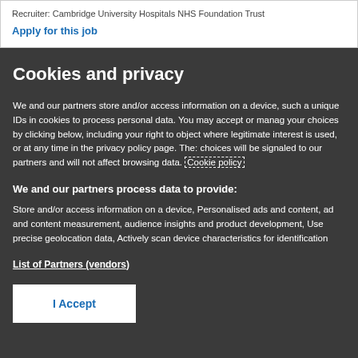Recruiter: Cambridge University Hospitals NHS Foundation Trust
Apply for this job
Cookies and privacy
We and our partners store and/or access information on a device, such a unique IDs in cookies to process personal data. You may accept or manag your choices by clicking below, including your right to object where legitimate interest is used, or at any time in the privacy policy page. The: choices will be signaled to our partners and will not affect browsing data. Cookie policy
We and our partners process data to provide:
Store and/or access information on a device, Personalised ads and content, ad and content measurement, audience insights and product development, Use precise geolocation data, Actively scan device characteristics for identification
List of Partners (vendors)
I Accept